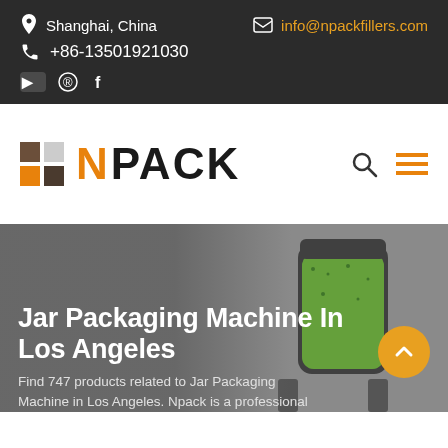Shanghai, China | info@npackfillers.com | +86-13501921030
[Figure (logo): NPackFillers logo with N in orange and PACK in black, with colored squares grid icon]
Jar Packaging Machine In Los Angeles
Find 747 products related to Jar Packaging Machine in Los Angeles. Npack is a professional